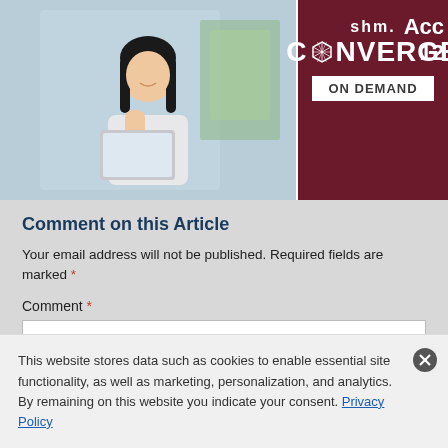[Figure (screenshot): SHM Converge On Demand banner with woman using laptop on left, dark red background with SHM Converge logo and 'ON DEMAND' white box on right]
Comment on this Article
Your email address will not be published. Required fields are marked *
Comment *
[Figure (screenshot): Empty white comment textarea input box]
This website stores data such as cookies to enable essential site functionality, as well as marketing, personalization, and analytics. By remaining on this website you indicate your consent. Privacy Policy